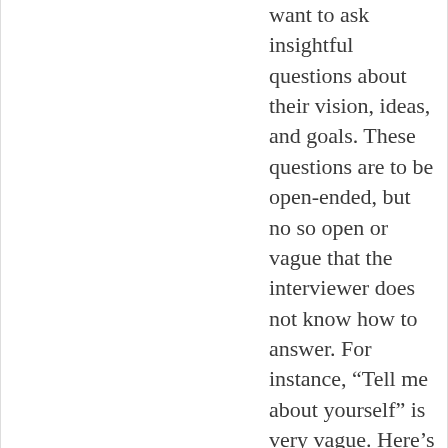want to ask insightful questions about their vision, ideas, and goals. These questions are to be open-ended, but no so open or vague that the interviewer does not know how to answer. For instance, “Tell me about yourself” is very vague. Here’s a great question I was asked at my graduate entrance interview, “Can you tell us why you